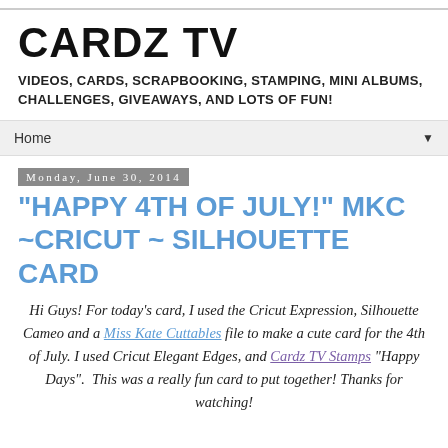CARDZ TV
VIDEOS, CARDS, SCRAPBOOKING, STAMPING, MINI ALBUMS, CHALLENGES, GIVEAWAYS, AND LOTS OF FUN!
Home
Monday, June 30, 2014
"HAPPY 4TH OF JULY!" MKC ~CRICUT ~ SILHOUETTE CARD
Hi Guys! For today's card, I used the Cricut Expression, Silhouette Cameo and a Miss Kate Cuttables file to make a cute card for the 4th of July. I used Cricut Elegant Edges, and Cardz TV Stamps "Happy Days".  This was a really fun card to put together! Thanks for watching!